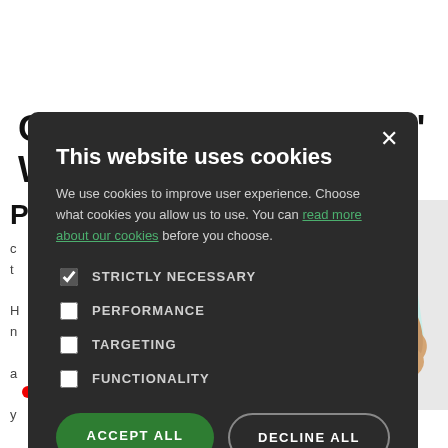Online 'Pre-Registration' With The
[Figure (screenshot): Cookie consent modal overlay on a webpage. The modal has a dark background (#2b2b2b) with a close X button. Title: 'This website uses cookies'. Body text: 'We use cookies to improve user experience. Choose what cookies you allow us to use. You can read more about our cookies before you choose.' Four checkboxes: STRICTLY NECESSARY (checked), PERFORMANCE (unchecked), TARGETING (unchecked), FUNCTIONALITY (unchecked). Two buttons: ACCEPT ALL (green) and DECLINE ALL (dark outline).]
[Figure (photo): A hand holding a pen signing a document, visible in the background to the right of the cookie modal.]